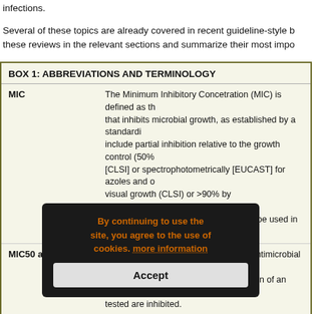infections.
Several of these topics are already covered in recent guideline-style b... these reviews in the relevant sections and summarize their most impo...
| Term | Definition |
| --- | --- |
| MIC | The Minimum Inhibitory Concetration (MIC) is defined as th... that inhibits microbial growth, as established by a standardi... include partial inhibition relative to the growth control (50%... [CLSI] or spectrophotometrically [EUCAST] for azoles and o... visual growth (CLSI) or >90% by spectrophotometer (EUC... MIC50, MIC90 and MIC100 should not be used in this cont... |
| MIC50 and MIC90 | The MIC50 is the concentration of an antimicrobial agent a... inhibited. The MIC90 is the concentration of an antimicrobia... tested are inhibited. |
| MEC | The minimum effective concentration (MEC) is defined as th... results in growth of filamentous fungi producing conspicuo... defined as k... compact microcolonies compared ... that doe... ngal agent. |
| IC50/IC90 | The minimum inhibitory concentration of a (novel) antimicro... |
By continuing to use the site, you agree to the use of cookies. more information
Accept